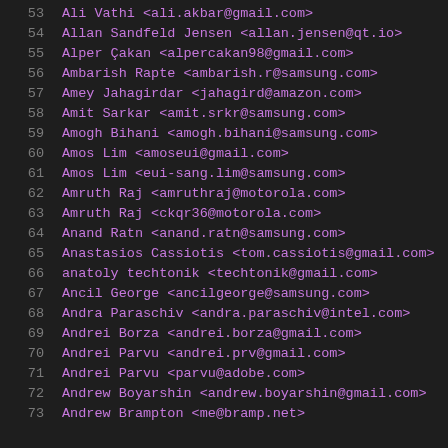53  Ali Vathi <ali.akbar@gmail.com>
54  Allan Sandfeld Jensen <allan.jensen@qt.io>
55  Alper Çakan <alpercakan98@gmail.com>
56  Ambarish Rapte <ambarish.r@samsung.com>
57  Amey Jahagirdar <jahagird@amazon.com>
58  Amit Sarkar <amit.srkr@samsung.com>
59  Amogh Bihani <amogh.bihani@samsung.com>
60  Amos Lim <amoseui@gmail.com>
61  Amos Lim <eui-sang.lim@samsung.com>
62  Amruth Raj <amruthraj@motorola.com>
63  Amruth Raj <ckqr36@motorola.com>
64  Anand Ratn <anand.ratn@samsung.com>
65  Anastasios Cassiotis <tom.cassiotis@gmail.com>
66  anatoly techtonik <techtonik@gmail.com>
67  Ancil George <ancilgeorge@samsung.com>
68  Andra Paraschiv <andra.paraschiv@intel.com>
69  Andrei Borza <andrei.borza@gmail.com>
70  Andrei Parvu <andrei.prv@gmail.com>
71  Andrei Parvu <parvu@adobe.com>
72  Andrew Boyarshin <andrew.boyarshin@gmail.com>
73  Andrew Brampton <me@bramp.net>